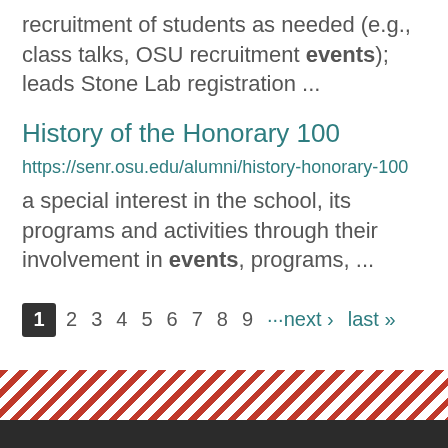recruitment of students as needed (e.g., class talks, OSU recruitment events); leads Stone Lab registration ...
History of the Honorary 100
https://senr.osu.edu/alumni/history-honorary-100
a special interest in the school, its programs and activities through their involvement in events, programs, ...
1 2 3 4 5 6 7 8 9 ···next › last »